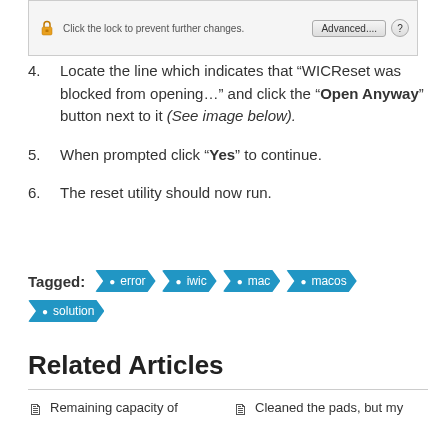[Figure (screenshot): Screenshot of a dialog bar with a padlock icon, text 'Click the lock to prevent further changes.', and buttons 'Advanced...' and '?']
Locate the line which indicates that “WICReset was blocked from opening…” and click the “Open Anyway” button next to it (See image below).
When prompted click “Yes” to continue.
The reset utility should now run.
Tagged: error iwic mac macos solution
Related Articles
Remaining capacity of
Cleaned the pads, but my